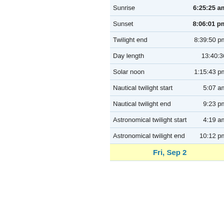| Event | Time |
| --- | --- |
| Sunrise | 6:25:25 am |
| Sunset | 8:06:01 pm |
| Twilight end | 8:39:50 pm |
| Day length | 13:40:36 |
| Solar noon | 1:15:43 pm |
| Nautical twilight start | 5:07 am |
| Nautical twilight end | 9:23 pm |
| Astronomical twilight start | 4:19 am |
| Astronomical twilight end | 10:12 pm |
| Fri, Sep 2 |  |